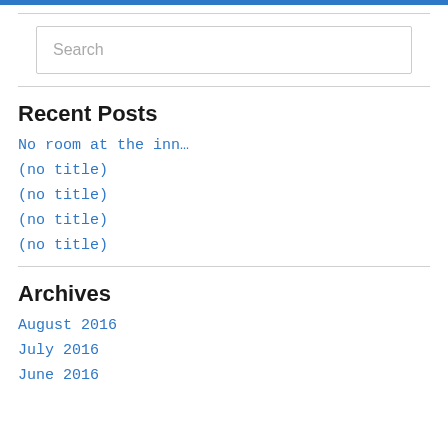Search
Recent Posts
No room at the inn…
(no title)
(no title)
(no title)
(no title)
Archives
August 2016
July 2016
June 2016